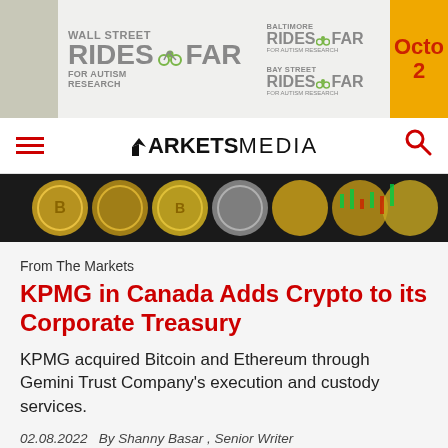[Figure (other): Advertisement banner: Wall Street Rides Far for Autism Research, Baltimore Rides Far, Bay Street Rides Far. Orange box showing 'Octo 2' (October date).]
ARKETSMEDIA
[Figure (photo): Close-up image of gold and silver Bitcoin coins on a dark background with a stock chart visible in the background.]
From The Markets
KPMG in Canada Adds Crypto to its Corporate Treasury
KPMG acquired Bitcoin and Ethereum through Gemini Trust Company's execution and custody services.
02.08.2022   By Shanny Basar , Senior Writer